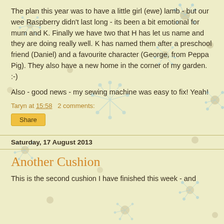The plan this year was to have a little girl (ewe) lamb - but our wee Raspberry didn't last long - its been a bit emotional for mum and K.  Finally we have two that H has let us name and they are doing really well.  K has named them after a preschool friend (Daniel) and a favourite character (George, from Peppa Pig).  They also have a new home in the corner of my garden.  :-)
Also - good news - my sewing machine was easy to fix!  Yeah!
Taryn at 15:58   2 comments:
Share
Saturday, 17 August 2013
Another Cushion
This is the second cushion I have finished this week - and